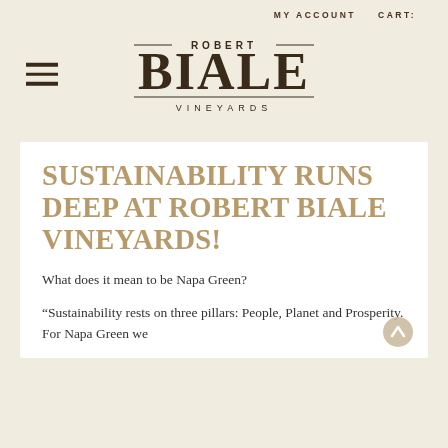MY ACCOUNT   CART:
[Figure (logo): Robert Biale Vineyards logo with decorative horizontal lines above and below 'ROBERT' text, large 'BIALE' in display font, 'VINEYARDS' in spaced capitals below]
SUSTAINABILITY RUNS DEEP AT ROBERT BIALE VINEYARDS!
What does it mean to be Napa Green?
“Sustainability rests on three pillars: People, Planet and Prosperity. For Napa Green we